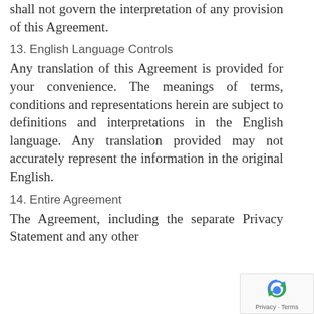shall not govern the interpretation of any provision of this Agreement.
13. English Language Controls
Any translation of this Agreement is provided for your convenience. The meanings of terms, conditions and representations herein are subject to definitions and interpretations in the English language. Any translation provided may not accurately represent the information in the original English.
14. Entire Agreement
The Agreement, including the separate Privacy Statement and any other